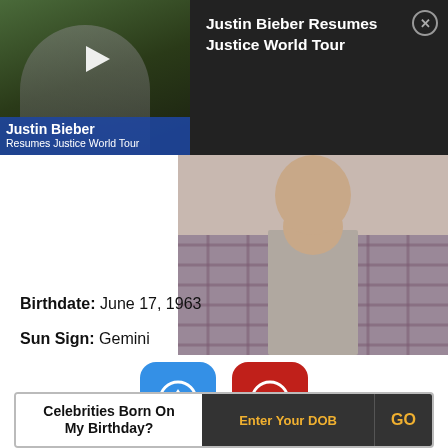[Figure (screenshot): Video thumbnail showing Justin Bieber with dark overlay and play button, alongside a dark panel with text 'Justin Bieber Resumes Justice World Tour' and a close (X) button]
[Figure (photo): Close-up photo of a person wearing a plaid shirt, cropped at the neck/chest area]
[Figure (infographic): Blue upvote button with up-arrow icon showing count 18, and red downvote button with down-arrow icon showing count 4]
Birthdate: June 17, 1963
Sun Sign: Gemini
Celebrities Born On My Birthday?   Enter Your DOB   GO